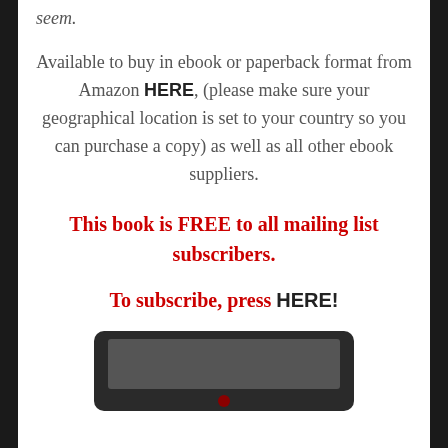seem.
Available to buy in ebook or paperback format from Amazon HERE, (please make sure your geographical location is set to your country so you can purchase a copy) as well as all other ebook suppliers.
This book is FREE to all mailing list subscribers.
To subscribe, press HERE!
[Figure (photo): Bottom portion of a tablet/e-reader device shown from the front, dark frame with a screen visible.]